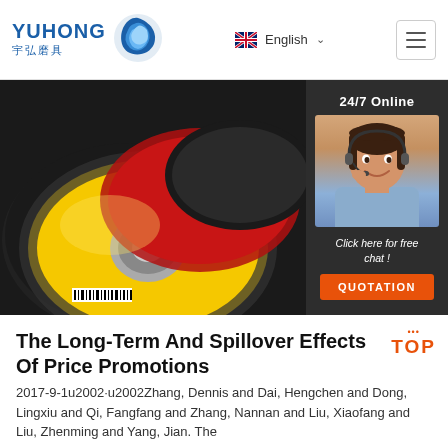YUHONG 宇弘磨具 — English
[Figure (photo): Hero image showing yellow flap discs/grinding wheels stacked, with a customer service agent sidebar showing '24/7 Online', 'Click here for free chat!', and 'QUOTATION' button]
The Long-Term And Spillover Effects Of Price Promotions
2017-9-1u2002·u2002Zhang, Dennis and Dai, Hengchen and Dong, Lingxiu and Qi, Fangfang and Zhang, Nannan and Liu, Xiaofang and Liu, Zhenming and Yang, Jian. The